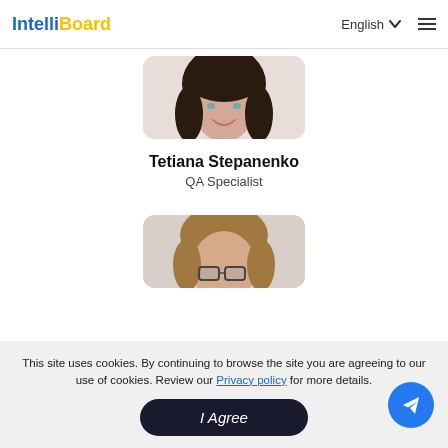IntelliBoard | English | Menu
[Figure (photo): Profile photo of Tetiana Stepanenko, a woman with dark shoulder-length hair wearing a pink/mauve top, smiling, with a light background.]
Tetiana Stepanenko
QA Specialist
[Figure (photo): Partial profile photo of a second person with short light-brown hair and glasses, partially visible, cut off at the bottom of the page.]
This site uses cookies. By continuing to browse the site you are agreeing to our use of cookies. Review our Privacy policy for more details.
I Agree